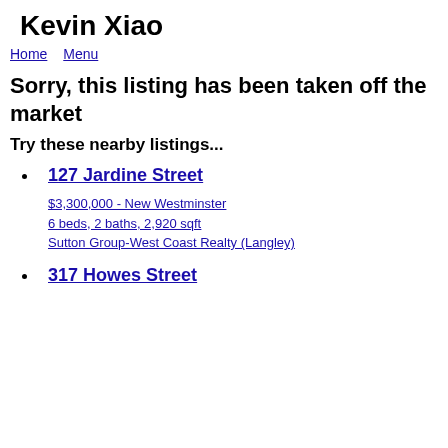Kevin Xiao
Home   Menu
Sorry, this listing has been taken off the market
Try these nearby listings...
127 Jardine Street
$3,300,000 - New Westminster
6 beds, 2 baths, 2,920 sqft
Sutton Group-West Coast Realty (Langley)
317 Howes Street